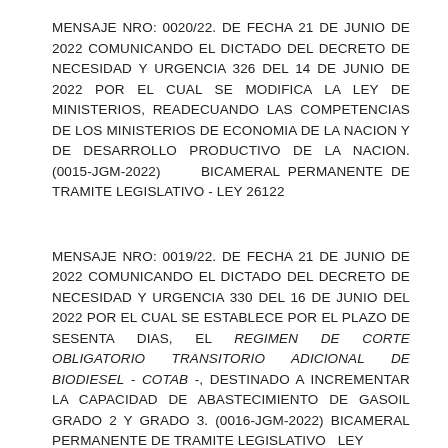MENSAJE NRO: 0020/22. DE FECHA 21 DE JUNIO DE 2022 COMUNICANDO EL DICTADO DEL DECRETO DE NECESIDAD Y URGENCIA 326 DEL 14 DE JUNIO DE 2022 POR EL CUAL SE MODIFICA LA LEY DE MINISTERIOS, READECUANDO LAS COMPETENCIAS DE LOS MINISTERIOS DE ECONOMIA DE LA NACION Y DE DESARROLLO PRODUCTIVO DE LA NACION. (0015-JGM-2022) BICAMERAL PERMANENTE DE TRAMITE LEGISLATIVO - LEY 26122
MENSAJE NRO: 0019/22. DE FECHA 21 DE JUNIO DE 2022 COMUNICANDO EL DICTADO DEL DECRETO DE NECESIDAD Y URGENCIA 330 DEL 16 DE JUNIO DEL 2022 POR EL CUAL SE ESTABLECE POR EL PLAZO DE SESENTA DIAS, EL REGIMEN DE CORTE OBLIGATORIO TRANSITORIO ADICIONAL DE BIODIESEL - COTAB -, DESTINADO A INCREMENTAR LA CAPACIDAD DE ABASTECIMIENTO DE GASOIL GRADO 2 Y GRADO 3. (0016-JGM-2022) BICAMERAL PERMANENTE DE TRAMITE LEGISLATIVO - LEY